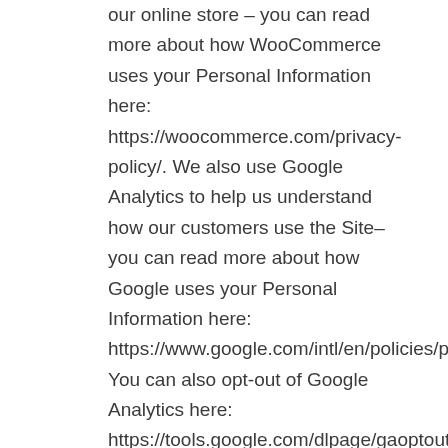our online store – you can read more about how WooCommerce uses your Personal Information here: https://woocommerce.com/privacy-policy/. We also use Google Analytics to help us understand how our customers use the Site–you can read more about how Google uses your Personal Information here: https://www.google.com/intl/en/policies/privacy/. You can also opt-out of Google Analytics here: https://tools.google.com/dlpage/gaoptout.

Finally, we may also share your Personal Information to comply with applicable laws